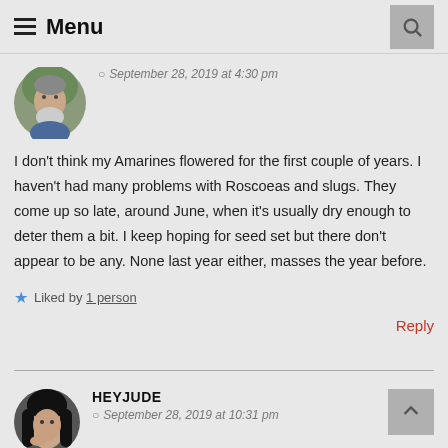≡ Menu
September 28, 2019 at 4:30 pm
I don't think my Amarines flowered for the first couple of years. I haven't had many problems with Roscoeas and slugs. They come up so late, around June, when it's usually dry enough to deter them a bit. I keep hoping for seed set but there don't appear to be any. None last year either, masses the year before.
★ Liked by 1 person
Reply
HEYJUDE
September 28, 2019 at 10:31 pm